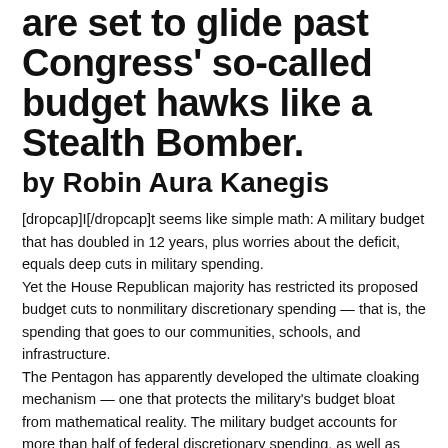are set to glide past Congress' so-called budget hawks like a Stealth Bomber.
by Robin Aura Kanegis
[dropcap]I[/dropcap]t seems like simple math: A military budget that has doubled in 12 years, plus worries about the deficit, equals deep cuts in military spending. Yet the House Republican majority has restricted its proposed budget cuts to nonmilitary discretionary spending — that is, the spending that goes to our communities, schools, and infrastructure. The Pentagon has apparently developed the ultimate cloaking mechanism — one that protects the military's budget bloat from mathematical reality. The military budget accounts for more than half of federal discretionary spending, as well as nearly half of all military spending worldwide. By doing this, it has hidden the